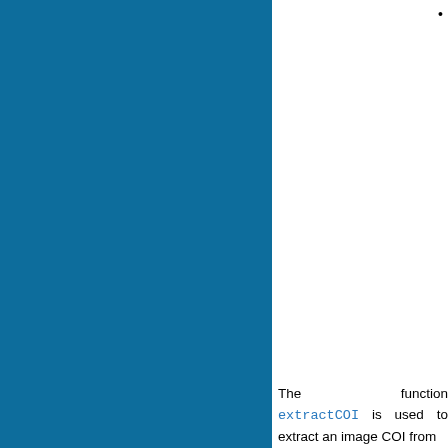[Figure (photo): Large teal/dark cyan blue rectangle filling the left portion of the page, likely a figure or screenshot background.]
•
The function extractImageCOI is used to extract an image COI from